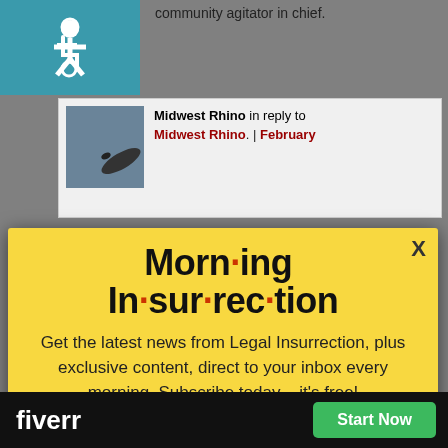[Figure (screenshot): Background page showing a blog comment section with a wheelchair accessibility icon in teal, a comment by Midwest Rhino, and partial text 'community agitator in chief.']
[Figure (infographic): Yellow popup modal for Morning Insurrection newsletter subscription with title 'Morn·ing In·sur·rec·tion', body text, and JOIN NOW button]
Morn·ing In·sur·rec·tion
Get the latest news from Legal Insurrection, plus exclusive content, direct to your inbox every morning. Subscribe today – it's free!
[Figure (screenshot): JOIN NOW orange button with envelope icon]
[Figure (screenshot): Fiverr advertisement bar at bottom with Start Now green button]